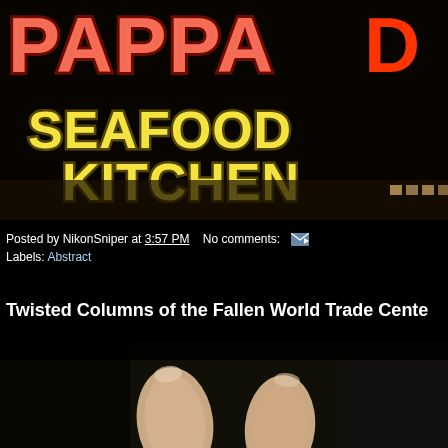[Figure (photo): Neon sign of Pappadeaux Seafood Kitchen restaurant at night, showing red and yellow illuminated letters against a dark background]
Posted by NikonSniper at 3:57 PM   No comments:
Labels: Abstract
Twisted Columns of the Fallen World Trade Cente…
[Figure (photo): Close-up photograph of two fingers against a dark background, appears to be the beginning of a photo related to the Fallen World Trade Center post]